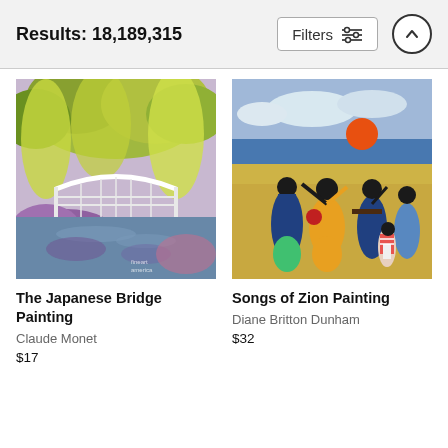Results: 18,189,315  Filters
[Figure (photo): Painting of The Japanese Bridge by Claude Monet showing a Japanese-style arched bridge over a pond surrounded by weeping willows and colorful garden foliage]
The Japanese Bridge Painting
Claude Monet
$17
[Figure (photo): Painting Songs of Zion by Diane Britton Dunham showing colorful figures celebrating outdoors with a bright orange sun in the sky]
Songs of Zion Painting
Diane Britton Dunham
$32